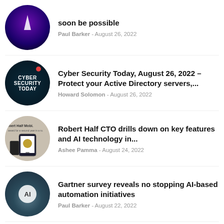[Figure (photo): Circular thumbnail with purple/blue lightning bolt on dark background]
soon be possible
Paul Barker - August 26, 2022
[Figure (photo): Circular thumbnail with dark background showing 'CYBER SECURITY TODAY' text in white with a red dot]
Cyber Security Today, August 26, 2022 – Protect your Active Directory servers,...
Howard Solomon - August 26, 2022
[Figure (photo): Circular thumbnail showing Robert Half Mobile app award image with phone and keyboard]
Robert Half CTO drills down on key features and AI technology in...
Ashee Pamma - August 24, 2022
[Figure (photo): Circular thumbnail with AI badge and city skyline on blue-grey background]
Gartner survey reveals no stopping AI-based automation initiatives
Paul Barker - August 22, 2022